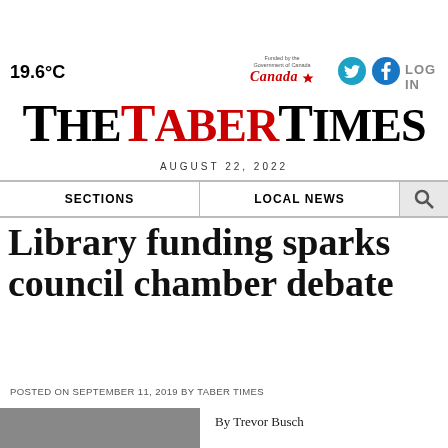19.6°C
[Figure (logo): Funded by the Government of Canada / Canada wordmark logo]
[Figure (logo): Twitter social icon (teal circle)]
[Figure (logo): Facebook social icon (blue circle)]
LOG IN
The Taber Times
AUGUST 22, 2022
SECTIONS | LOCAL NEWS
Library funding sparks council chamber debate
POSTED ON SEPTEMBER 11, 2019 BY TABER TIMES
By Trevor Busch